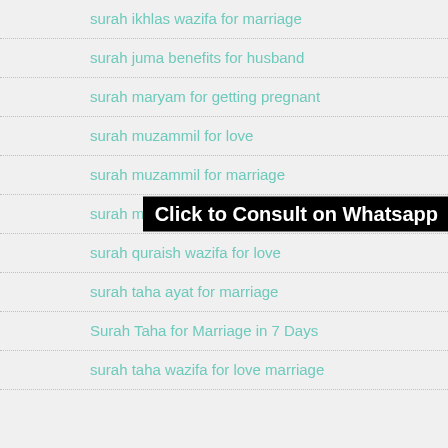surah ikhlas wazifa for marriage
surah juma benefits for husband
surah maryam for getting pregnant
surah muzammil for love
surah muzammil for marriage
surah muzammil wazifa  Click to Consult on Whatsapp
surah quraish wazifa for love
surah taha ayat for marriage
Surah Taha for Marriage in 7 Days
surah taha wazifa for love marriage